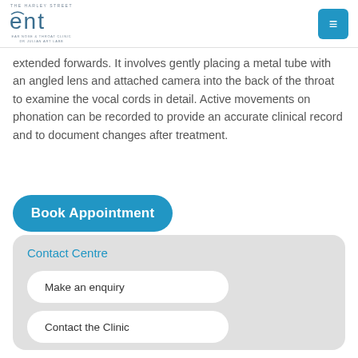THE HARLEY STREET ENT EAR NOSE & THROAT CLINIC DR JULIAN ART LABB
extended forwards. It involves gently placing a metal tube with an angled lens and attached camera into the back of the throat to examine the vocal cords in detail. Active movements on phonation can be recorded to provide an accurate clinical record and to document changes after treatment.
Book Appointment
Contact Centre
Make an enquiry
Contact the Clinic